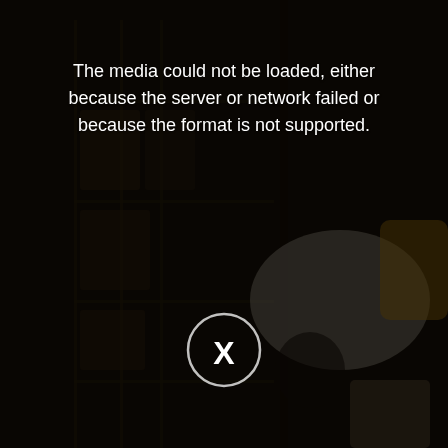[Figure (photo): Dark, semi-transparent video player overlay showing a blurred background image of people working in what appears to be an industrial or market setting. A media error message is displayed with a circle-X button in the center.]
The media could not be loaded, either because the server or network failed or because the format is not supported.